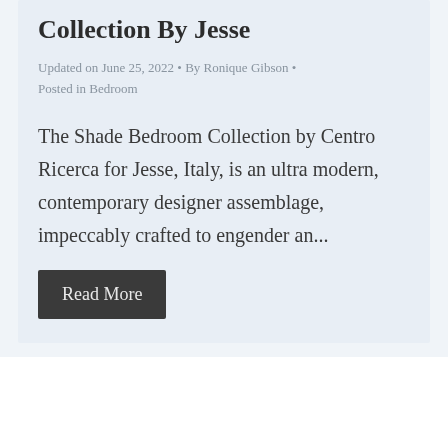Collection By Jesse
Updated on June 25, 2022 • By Ronique Gibson • Posted in Bedroom
The Shade Bedroom Collection by Centro Ricerca for Jesse, Italy, is an ultra modern, contemporary designer assemblage, impeccably crafted to engender an...
Read More